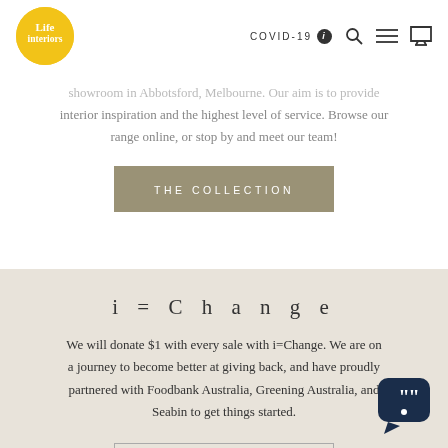[Figure (logo): Life Interiors logo: yellow circle with white text 'Life interiors']
COVID-19  🔍  ≡  🛒
showroom in Abbotsford, Melbourne. Our aim is to provide interior inspiration and the highest level of service. Browse our range online, or stop by and meet our team!
THE COLLECTION
i = C h a n g e
We will donate $1 with every sale with i=Change. We are on a journey to become better at giving back, and have proudly partnered with Foodbank Australia, Greening Australia, and Seabin to get things started.
FIND OUT MORE
[Figure (illustration): Chat support widget icon in bottom right corner]